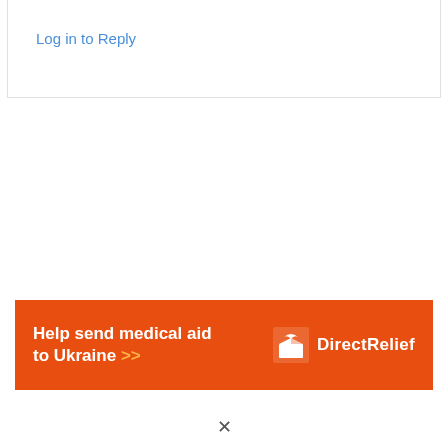Log in to Reply
[Figure (infographic): Orange advertisement banner for Direct Relief: 'Help send medical aid to Ukraine >>' with Direct Relief logo on the right (white bird/box icon and text 'Direct Relief')]